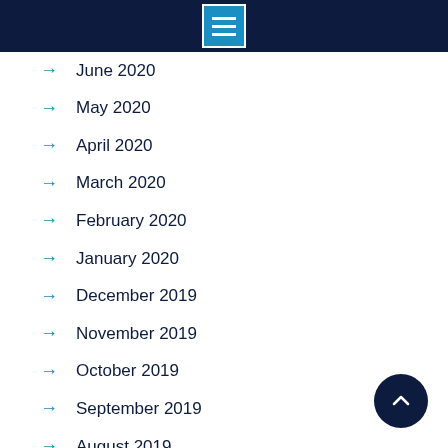Menu navigation header
June 2020
May 2020
April 2020
March 2020
February 2020
January 2020
December 2019
November 2019
October 2019
September 2019
August 2019
July 2019
June 2019